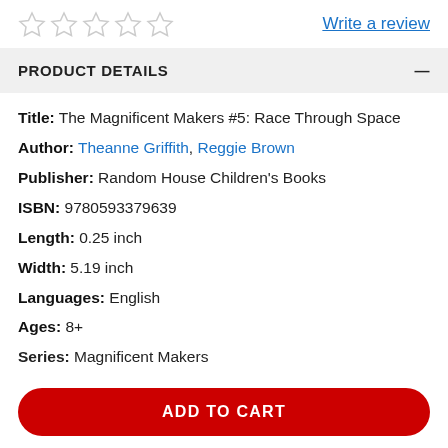[Figure (other): Five empty star rating icons in a row]
Write a review
PRODUCT DETAILS
Title: The Magnificent Makers #5: Race Through Space
Author: Theanne Griffith, Reggie Brown
Publisher: Random House Children's Books
ISBN: 9780593379639
Length: 0.25 inch
Width: 5.19 inch
Languages: English
Ages: 8+
Series: Magnificent Makers
ADD TO CART